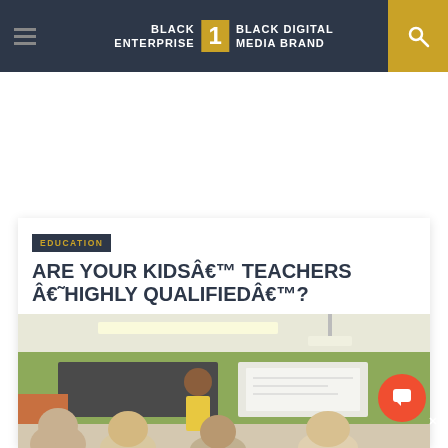BLACK ENTERPRISE THE #1 BLACK DIGITAL MEDIA BRAND
EDUCATION
ARE YOUR KIDSÂ€™ TEACHERS Â€˜HIGHLY QUALIFIEDÂ€™?
[Figure (photo): Classroom scene with a teacher standing near a whiteboard, students seated with backs to camera, green walls, fluorescent lighting]